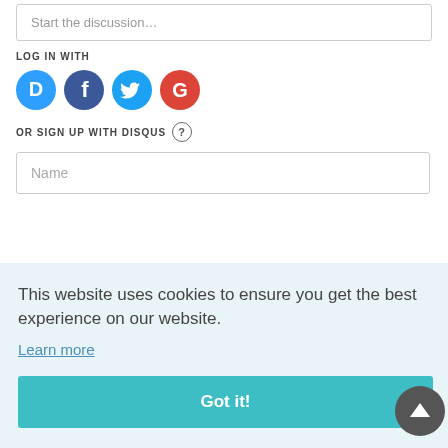Start the discussion…
LOG IN WITH
[Figure (illustration): Social login icons: Disqus (blue circle with D), Facebook (dark blue circle with f), Twitter (light blue circle with bird), Google (red circle with G)]
OR SIGN UP WITH DISQUS ?
Name
This website uses cookies to ensure you get the best experience on our website.
Learn more
Got it!